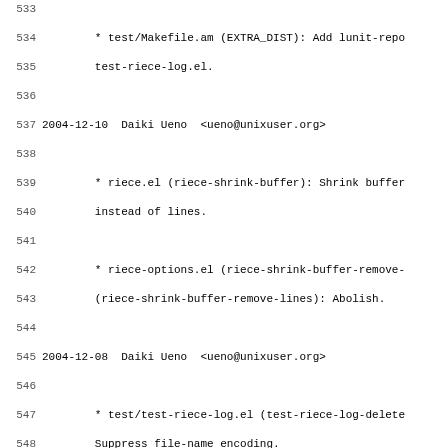Source code / changelog viewer showing lines 533-565 of a changelog file with entries by Daiki Ueno dated 2004-12-10 and 2004-12-08